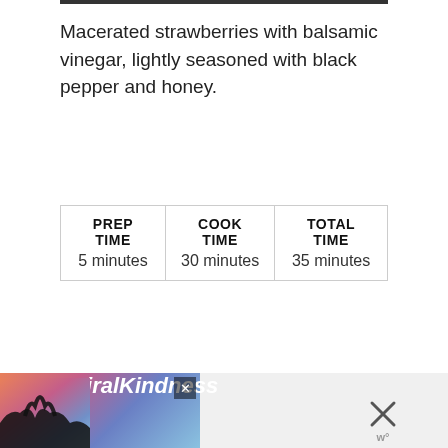Macerated strawberries with balsamic vinegar, lightly seasoned with black pepper and honey.
| PREP TIME | COOK TIME | TOTAL TIME |
| --- | --- | --- |
| 5 minutes | 30 minutes | 35 minutes |
[Figure (other): Advertisement banner with hands making heart shape silhouette against sunset sky, with text #ViralKindness]